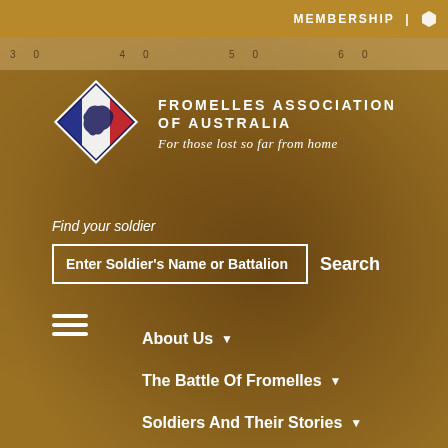MEMBERSHIP
[Figure (logo): Fromelles Association of Australia diamond-shaped logo with French tricolor (blue, white, red) and silhouette of Australia map]
FROMELLES ASSOCIATION OF AUSTRALIA
For those lost so far from home
Find your soldier
Enter Soldier's Name or Battalion
Search
About Us
The Battle Of Fromelles
Soldiers And Their Stories
The Search For The Missing